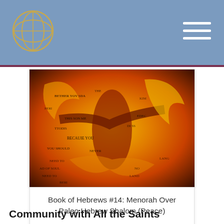[Figure (illustration): A colorful painting with orange, yellow, red, and dark tones featuring a figure with outstretched arms overlaid with handwritten Hebrew and English text. The image is titled 'Book of Hebrews #14: Menorah Over Paleo Hebrew Shalom (Peace)'.]
Book of Hebrews #14: Menorah Over Paleo Hebrew Shalom (Peace)
Community with All the Saints